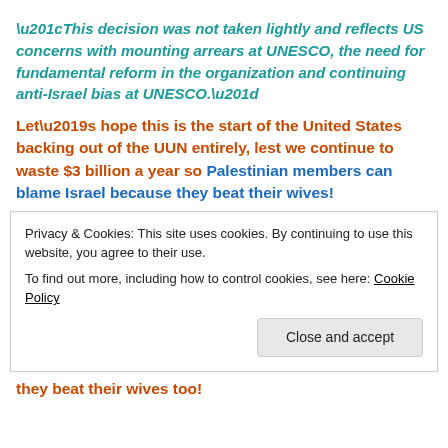“This decision was not taken lightly and reflects US concerns with mounting arrears at UNESCO, the need for fundamental reform in the organization and continuing anti-Israel bias at UNESCO.”
Let’s hope this is the start of the United States backing out of the UUN entirely, lest we continue to waste $3 billion a year so Palestinian members can blame Israel because they beat their wives!
Privacy & Cookies: This site uses cookies. By continuing to use this website, you agree to their use.
To find out more, including how to control cookies, see here: Cookie Policy
Close and accept
they beat their wives too!